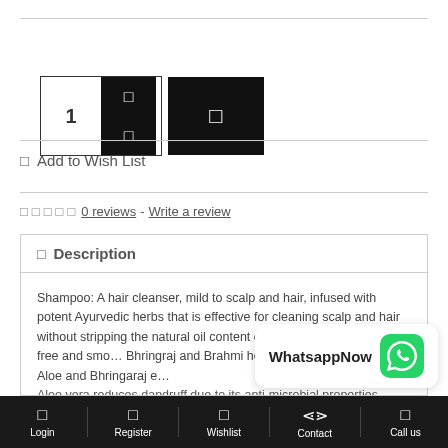[Figure (other): Quantity selector with number '1' and up/down arrows, plus add-to-cart button (dark background with cart icon)]
☐  Add to Wish List
☐ ☐ ☐ ☐ ☐  0 reviews -  Write a review
☐ Description
Shampoo: A hair cleanser, mild to scalp and hair, infused with potent Ayurvedic herbs that is effective for cleaning scalp and hair without stripping the natural oil content of the hair leaving it frizz free and smooth, Bhringraj and Brahmi helps prevent hair loss while Aloe and Bhringaraj e... Aloe vera reduces dandruff due to its anti-microbial properties.
[Figure (other): WhatsApp Now overlay button with green WhatsApp logo]
Login   Register   Wishlist   Contact   Call us